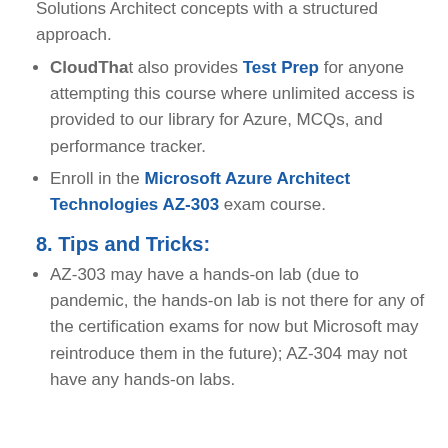Solutions Architect concepts with a structured approach.
CloudThat also provides Test Prep for anyone attempting this course where unlimited access is provided to our library for Azure, MCQs, and performance tracker.
Enroll in the Microsoft Azure Architect Technologies AZ-303 exam course.
8. Tips and Tricks:
AZ-303 may have a hands-on lab (due to pandemic, the hands-on lab is not there for any of the certification exams for now but Microsoft may reintroduce them in the future); AZ-304 may not have any hands-on labs.